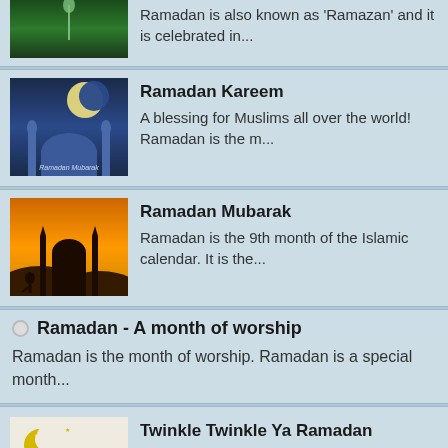[Figure (photo): Partial thumbnail of a green/forest Ramadan image at top]
Ramadan is also known as 'Ramazan' and it is celebrated in...
[Figure (photo): Ramadan Mubarak mosque image with moon at night]
Ramadan Kareem
A blessing for Muslims all over the world! Ramadan is the m...
[Figure (photo): Silhouette of mosque and person praying at orange sunset]
Ramadan Mubarak
Ramadan is the 9th month of the Islamic calendar. It is the...
Ramadan - A month of worship
Ramadan is the month of worship. Ramadan is a special month...
[Figure (photo): Imsak/Imsekiyah supplement cover with crescent moon and lanterns]
Twinkle Twinkle Ya Ramadan
Month of mercy, blessings and forgiveness. Approached fa...